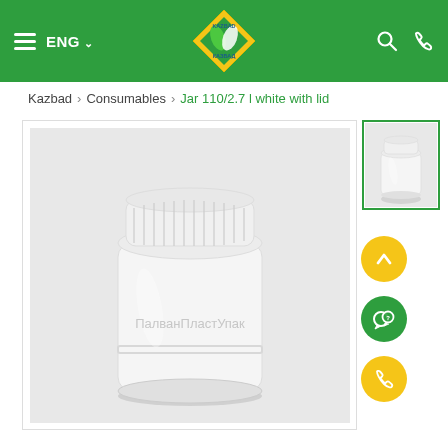ENG | Kazbad logo | Search | Phone
Kazbad > Consumables > Jar 110/2.7 l white with lid
[Figure (photo): White plastic jar with lid, product photo on grey background with watermark ПалванПластУпак]
[Figure (photo): Thumbnail of white plastic jar with lid]